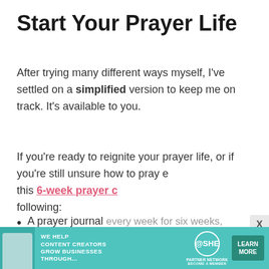Start Your Prayer Life
After trying many different ways myself, I've settled on a simplified version to keep me on track. It's available to you.
If you're ready to reignite your prayer life, or if you're still unsure how to pray e this 6-week prayer c following:
A prayer journal every week for six weeks, formatted with writing prompts.
[Figure (infographic): Advertisement banner for SHE Media Partner Network: teal background with a photo of a woman, bold text reading 'WE HELP CONTENT CREATORS GROW BUSINESSES THROUGH...', SHE logo circle, 'PARTNER NETWORK' and 'BECOME A MEMBER' text, and a dark green 'LEARN MORE' button.]